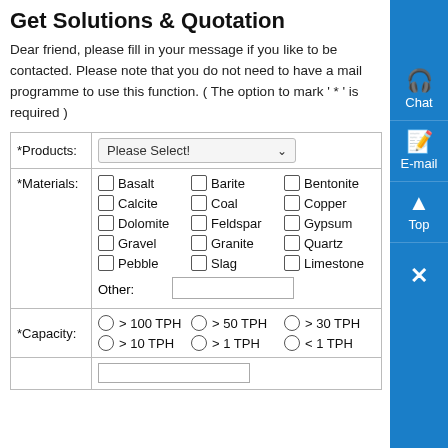Get Solutions & Quotation
Dear friend, please fill in your message if you like to be contacted. Please note that you do not need to have a mail programme to use this function. ( The option to mark ' * ' is required )
| *Products: | Please Select! |
| *Materials: | Basalt, Barite, Bentonite, Calcite, Coal, Copper, Dolomite, Feldspar, Gypsum, Gravel, Granite, Quartz, Pebble, Slag, Limestone, Other: |
| *Capacity: | > 100 TPH, > 50 TPH, > 30 TPH, > 10 TPH, > 1 TPH, < 1 TPH |
|  |  |